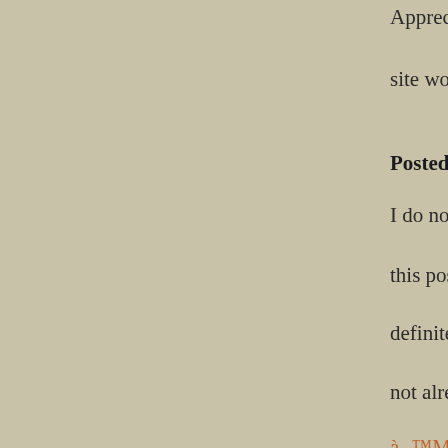Appreciate it for this post, I am a big fan of this site would like to keep updated. acim blog
Posted 1 year ago by robinjack
I do not even know how I ended up here, but this post was good. I do not know who you a definitely youâ€™re going to a famous blogg not already Cheers! à¸¡à¸±à¸²à¸ˆà¸°à¸‡à¸²à¸™à¸«à¸¥à¸±à¸à¸¡à¸±à¸¢à¸• à¸ ™Màº¹à¸¥à¸ ™Màº¹à¹Œ
Posted 1 year ago by robinjack
Can I recently say exactly what a relief to see who actually knows what theyre discussing o You definitely realize how to bring a worry t work out it important. Workout . ought to see